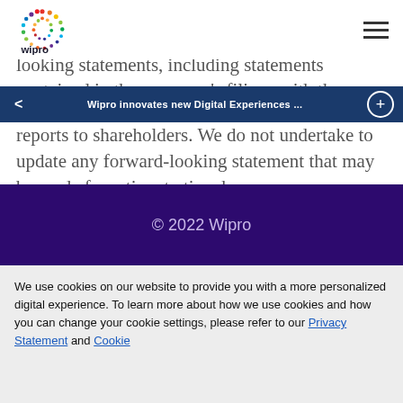[Figure (logo): Wipro colorful dot-circle logo with 'wipro' text]
available at ir.wipro.com. We may from time to time make additional written and oral forward-looking statements, including statements contained in the company's filings with the reports to shareholders. We do not undertake to update any forward-looking statement that may be made from time to time by us or on our behalf.
Wipro innovates new Digital Experiences ...
© 2022 Wipro
We use cookies on our website to provide you with a more personalized digital experience. To learn more about how we use cookies and how you can change your cookie settings, please refer to our Privacy Statement and Cookie